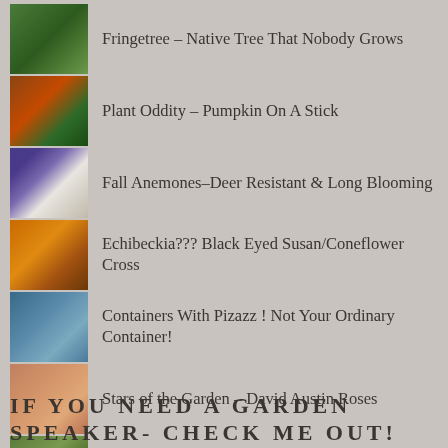Fringetree - Native Tree That Nobody Grows
Plant Oddity - Pumpkin On A Stick
Fall Anemones-Deer Resistant & Long Blooming
Echibeckia??? Black Eyed Susan/Coneflower Cross
Containers With Pizazz ! Not Your Ordinary Container!
Stars of the Garden - David Austin Roses
Make Your Own Hypertufa
IF YOU NEED A GARDEN SPEAKER- CHECK ME OUT!